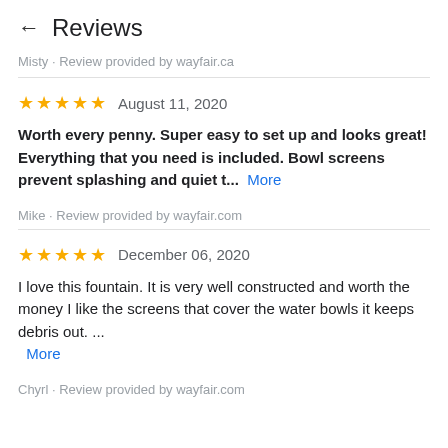← Reviews
Misty · Review provided by wayfair.ca
★★★★★  August 11, 2020
Worth every penny. Super easy to set up and looks great! Everything that you need is included. Bowl screens prevent splashing and quiet t...  More
Mike · Review provided by wayfair.com
★★★★★  December 06, 2020
I love this fountain. It is very well constructed and worth the money I like the screens that cover the water bowls it keeps debris out. ...  More
Chyrl · Review provided by wayfair.com